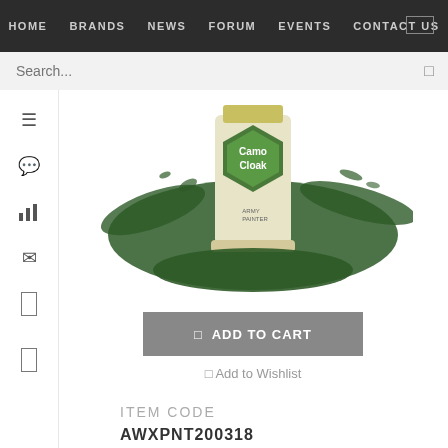HOME  BRANDS  NEWS  FORUM  EVENTS  CONTACT US
Search...
[Figure (photo): Army Painter Camo Cloak paint pot with green paint splashing around it. The bottle has a hexagonal label reading 'Camo Cloak' and 'Army Painter'.]
ADD TO CART
Add to Wishlist
ITEM CODE
AWXPNT200318
GENRE